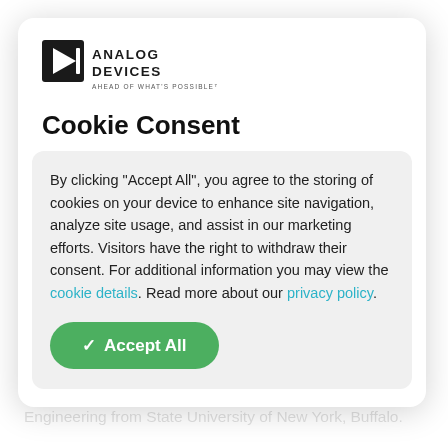[Figure (logo): Analog Devices logo with triangle play-button icon and text 'ANALOG DEVICES' with tagline 'AHEAD OF WHAT'S POSSIBLE']
Cookie Consent
By clicking “Accept All”, you agree to the storing of cookies on your device to enhance site navigation, analyze site usage, and assist in our marketing efforts. Visitors have the right to withdraw their consent. For additional information you may view the cookie details. Read more about our privacy policy.
Group at Analog Devices, Inc. He has been with ADI since April 2008 and is responsible for Gate Driver and Power Supply Digital Isolation Products. He has a Bachelor of Science in Electrical Engineering from State University of New York, Buffalo.